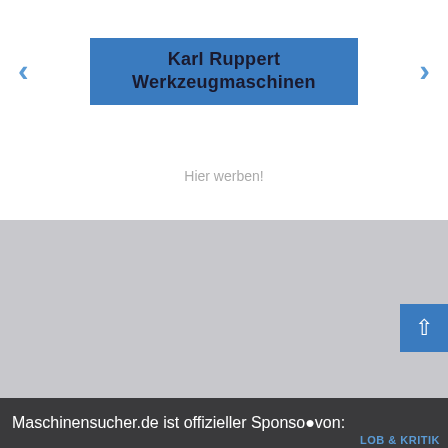[Figure (logo): Karl Ruppert Werkzeugmaschinen logo — dark text on blue background banner with navigation arrows]
Hier werben!
[Figure (illustration): App promotion section with Maschinensucher app icon (gear with M symbol), text about Gebrauchtmaschinen-App for iPhone and Android, and Mehr Infos button]
Maschinensucher.de ist offizieller Sponsor von:
[Figure (logo): LOB & KRITIK logo in blue text]